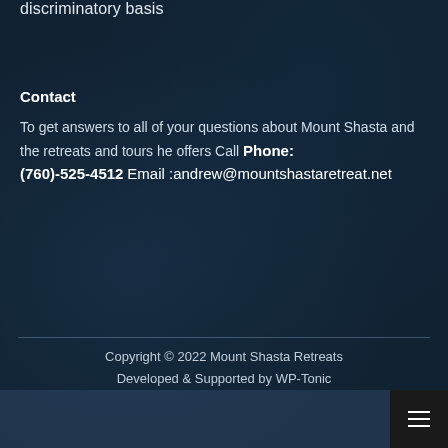discriminatory basis
Contact
To get answers to all of your questions about Mount Shasta and the retreats and tours he offers Call Phone: (760)-525-4512 Email :andrew@mountshastaretreat.net
Copyright © 2022 Mount Shasta Retreats
Developed & Supported by WP-Tonic